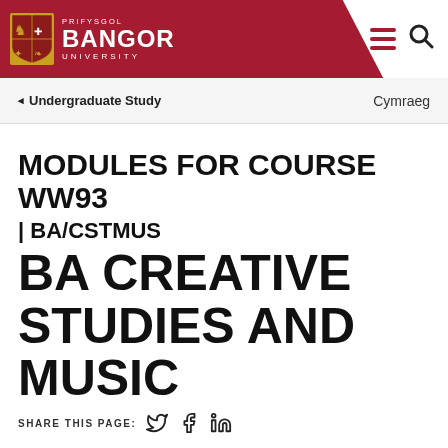[Figure (logo): Bangor University logo with shield crest and text PRIFYSGOL BANGOR UNIVERSITY on dark red header background with hamburger menu and search icon]
Undergraduate Study    Cymraeg
MODULES FOR COURSE WW93 | BA/CSTMUS BA CREATIVE STUDIES AND MUSIC
SHARE THIS PAGE: